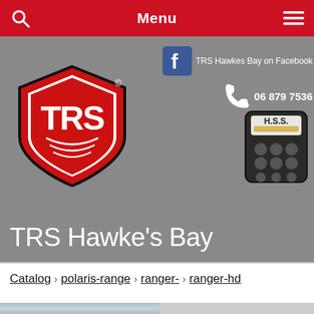Menu
[Figure (screenshot): TRS Hawkes Bay website header with TRS logo (red shield with TRS lettering), Facebook link, phone number 06 879 7536, HSS calculator icon, and site title 'TRS Hawke's Bay']
TRS Hawkes Bay on Facebook
06 879 7536
TRS Hawke's Bay
Catalog › polaris-range › ranger- › ranger-hd
[Figure (photo): Two partially visible photos at bottom: left shows sky with clouds, right shows black roll cage structure of a Polaris Ranger vehicle]